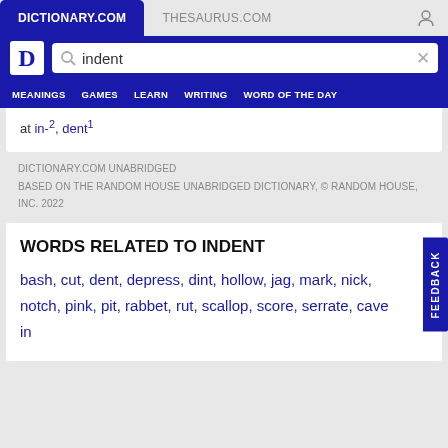DICTIONARY.COM   THESAURUS.COM
indent (search query)
MEANINGS   GAMES   LEARN   WRITING   WORD OF THE DAY
at in-2, dent1
DICTIONARY.COM UNABRIDGED
BASED ON THE RANDOM HOUSE UNABRIDGED DICTIONARY, © RANDOM HOUSE, INC. 2022
WORDS RELATED TO INDENT
bash, cut, dent, depress, dint, hollow, jag, mark, nick, notch, pink, pit, rabbet, rut, scallop, score, serrate, cave in